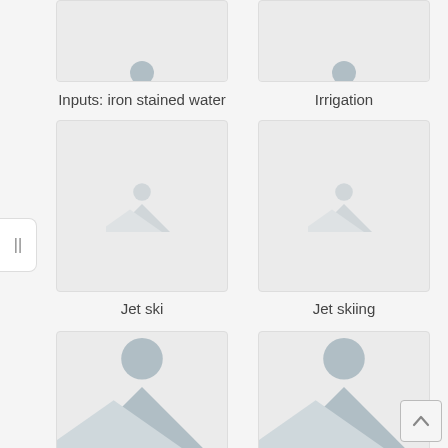[Figure (illustration): Placeholder image thumbnail (cropped, top row left) - iron stained water]
Inputs: iron stained water
[Figure (illustration): Placeholder image thumbnail (cropped, top row right) - Irrigation]
Irrigation
[Figure (illustration): Placeholder image thumbnail - Jet ski]
Jet ski
[Figure (illustration): Placeholder image thumbnail - Jet skiing]
Jet skiing
[Figure (illustration): Placeholder image thumbnail (cropped, bottom row left)]
[Figure (illustration): Placeholder image thumbnail (cropped, bottom row right)]